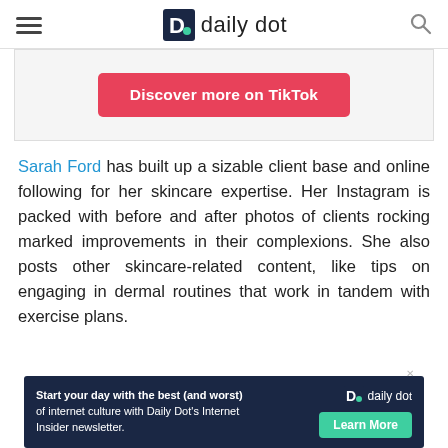daily dot
[Figure (screenshot): TikTok embed area with a pink/red 'Discover more on TikTok' button on a light gray background]
Sarah Ford has built up a sizable client base and online following for her skincare expertise. Her Instagram is packed with before and after photos of clients rocking marked improvements in their complexions. She also posts other skincare-related content, like tips on engaging in dermal routines that work in tandem with exercise plans.
[Figure (screenshot): Daily Dot newsletter ad banner: 'Start your day with the best (and worst) of internet culture with Daily Dot's Internet Insider newsletter.' with a 'Learn More' green button and Daily Dot logo]